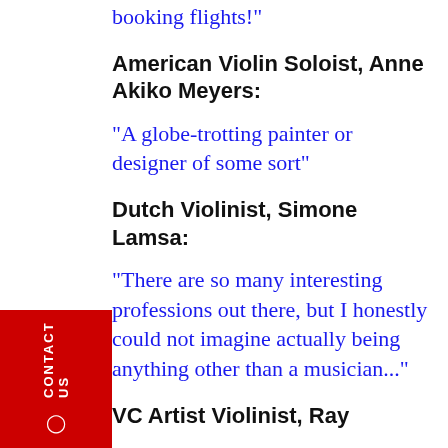booking flights!"
American Violin Soloist, Anne Akiko Meyers:
“A globe-trotting painter or designer of some sort”
Dutch Violinist, Simone Lamsa:
"There are so many interesting professions out there, but I honestly could not imagine actually being anything other than a musician..."
VC Artist Violinist, Ray
CONTACT US